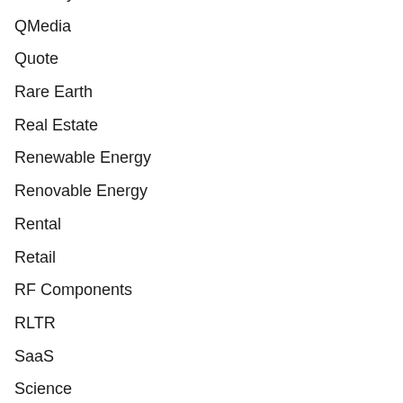Publicity
QMedia
Quote
Rare Earth
Real Estate
Renewable Energy
Renovable Energy
Rental
Retail
RF Components
RLTR
SaaS
Science